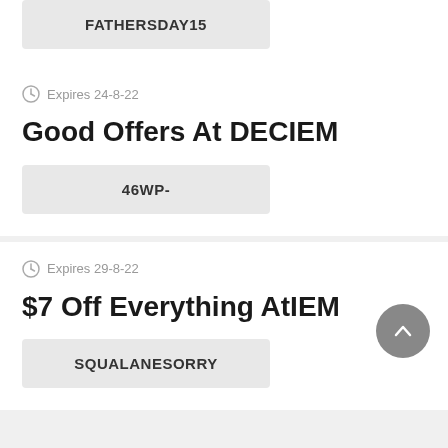FATHERSDAY15
Expires 24-8-22
Good Offers At DECIEM
46WP-
Expires 29-8-22
$7 Off Everything AtIEM
SQUALANESORRY